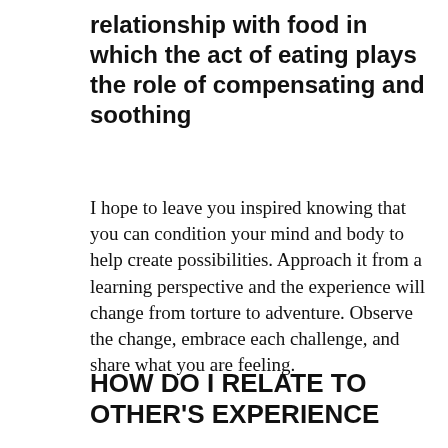relationship with food in which the act of eating plays the role of compensating and soothing
I hope to leave you inspired knowing that you can condition your mind and body to help create possibilities. Approach it from a learning perspective and the experience will change from torture to adventure. Observe the change, embrace each challenge, and share what you are feeling.
HOW DO I RELATE TO OTHER'S EXPERIENCE